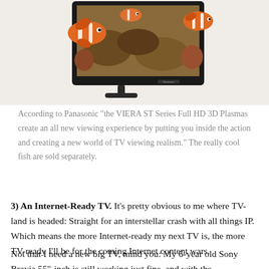[Figure (photo): A Panasonic Viera plasma TV displaying clownfish (Finding Nemo style) on a black stand, cropped at the top of the page.]
According to Panasonic "the VIERA ST Series Full HD 3D Plasmas create an all new viewing experience by putting you inside the action and creating a new world of TV viewing realism." The really cool fish are sold separately.
3) An Internet-Ready TV.  It’s pretty obvious to me where TV-land is headed: Straight for an interstellar crash with all things IP.  Which means the more Internet-ready my next TV is, the more TV-ready I’ll be for the coming Internet content wars.
Not that I need a new big TV, mind you: My 6-year old Sony Bravia 55"-inch is still working just fine, and with the